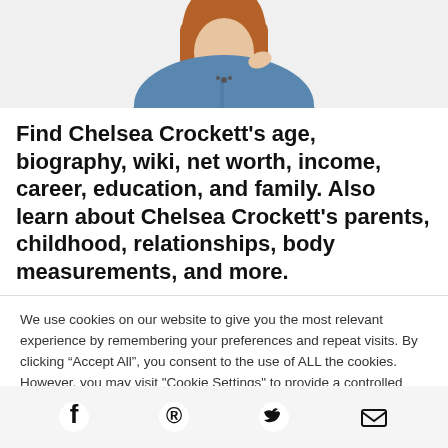[Figure (photo): Partial photo of a young woman with long hair wearing a blue denim shirt, cropped at top of page]
Find Chelsea Crockett’s age, biography, wiki, net worth, income, career, education, and family. Also learn about Chelsea Crockett’s parents, childhood, relationships, body measurements, and more.
We use cookies on our website to give you the most relevant experience by remembering your preferences and repeat visits. By clicking “Accept All”, you consent to the use of ALL the cookies. However, you may visit "Cookie Settings" to provide a controlled consent.
[Figure (infographic): Social media icon bar with Facebook, Pinterest, Twitter, and email icons]